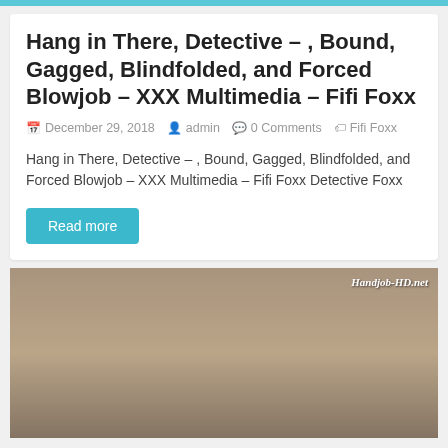Hang in There, Detective – , Bound, Gagged, Blindfolded, and Forced Blowjob – XXX Multimedia – Fifi Foxx
December 29, 2018   admin   0 Comments   Fifi Foxx
Hang in There, Detective – , Bound, Gagged, Blindfolded, and Forced Blowjob – XXX Multimedia – Fifi Foxx Detective Foxx
Read more
[Figure (photo): A photo with watermark text 'Handjob-HD.net' in the top right corner.]